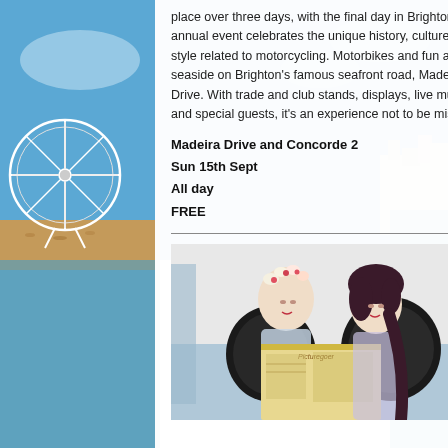[Figure (photo): Brighton seafront background photo showing the sea on the right and a Ferris wheel / beach on the left]
place over three days, with the final day in Brighton, this annual event celebrates the unique history, culture and style related to motorcycling. Motorbikes and fun at the seaside on Brighton's famous seafront road, Madeira Drive. With trade and club stands, displays, live music and special guests, it's an experience not to be missed!
Madeira Drive and Concorde 2
Sun 15th Sept
All day
FREE
[Figure (photo): Two women in vintage 1950s pin-up style hair and outfits reading a retro magazine together]